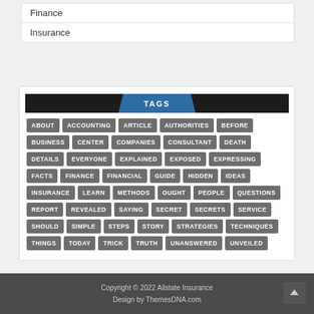Finance
Insurance
[Figure (infographic): Tags widget with dark header bar showing 'TAGS' in a blue chevron, followed by a grid of grey tag buttons: ABOUT, ACCOUNTING, ARTICLE, AUTHORITIES, BEFORE, BUSINESS, CENTER, COMPANIES, CONSULTANT, DEATH, DETAILS, EVERYONE, EXPLAINED, EXPOSED, EXPRESSING, FACTS, FINANCE, FINANCIAL, GUIDE, HIDDEN, IDEAS, INSURANCE, LEARN, METHODS, OUGHT, PEOPLE, QUESTIONS, REPORT, REVEALED, SAYING, SECRET, SECRETS, SERVICE, SHOULD, SIMPLE, STEPS, STORY, STRATEGIES, TECHNIQUES, THINGS, TODAY, TRICK, TRUTH, UNANSWERED, UNVEILED]
Copyright © 2022 Allstate Insurance
Design by ThemesDNA.com